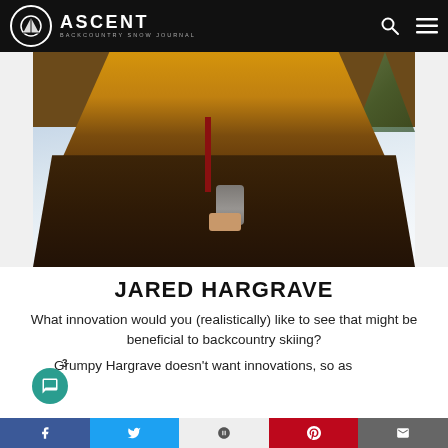ASCENT — BACKCOUNTRY SNOW JOURNAL
[Figure (photo): Person wearing a two-tone yellow and dark brown ski jacket, holding a can, standing in front of a snowy mountain slope.]
JARED HARGRAVE
What innovation would you (realistically) like to see that might be beneficial to backcountry skiing?
Grumpy Hargrave doesn't want innovations, so as
Social share bar: Facebook, Twitter, Google+, Pinterest, Email